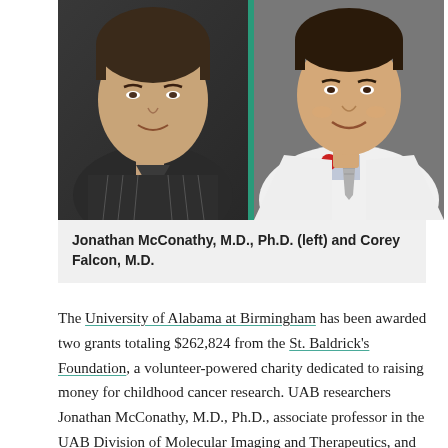[Figure (photo): Two side-by-side headshot photos. Left: Jonathan McConathy, a man in a dark striped shirt. Right: Corey Falcon, a man in a white doctor's coat with a gray tie and a red lapel pin.]
Jonathan McConathy, M.D., Ph.D. (left) and Corey Falcon, M.D.
The University of Alabama at Birmingham has been awarded two grants totaling $262,824 from the St. Baldrick's Foundation, a volunteer-powered charity dedicated to raising money for childhood cancer research. UAB researchers Jonathan McConathy, M.D., Ph.D., associate professor in the UAB Division of Molecular Imaging and Therapeutics, and Corey Falcon, M.D. fellow in the UAB Department of...